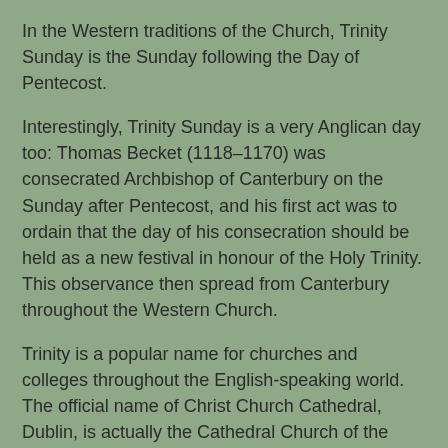In the Western traditions of the Church, Trinity Sunday is the Sunday following the Day of Pentecost.
Interestingly, Trinity Sunday is a very Anglican day too: Thomas Becket (1118–1170) was consecrated Archbishop of Canterbury on the Sunday after Pentecost, and his first act was to ordain that the day of his consecration should be held as a new festival in honour of the Holy Trinity. This observance then spread from Canterbury throughout the Western Church.
Trinity is a popular name for churches and colleges throughout the English-speaking world. The official name of Christ Church Cathedral, Dublin, is actually the Cathedral Church of the Holy Trinity, but it is also the official name of Christ Church Cathedral, Waterford, and there are Trinity Colleges in Dublin, Cambridge and Oxford as well as a Trinity Hall in Cambridge.
[Figure (photo): A photo of a church or cathedral building viewed through tree branches with spring foliage, against a light blue sky.]